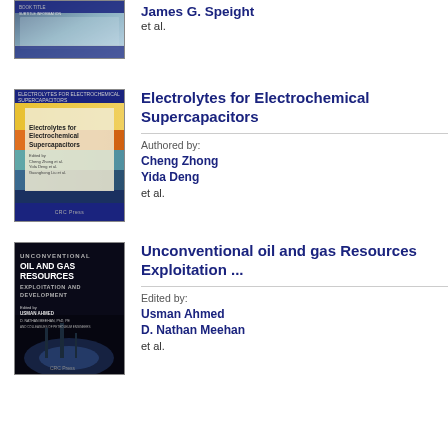[Figure (photo): Book cover for a James G. Speight book, industrial/pipeline imagery]
James G. Speight
et al.
[Figure (photo): Book cover: Electrolytes for Electrochemical Supercapacitors]
Electrolytes for Electrochemical Supercapacitors
Authored by:
Cheng Zhong
Yida Deng
et al.
[Figure (photo): Book cover: Unconventional Oil and Gas Resources Exploitation and Development]
Unconventional oil and gas Resources Exploitation ...
Edited by:
Usman Ahmed
D. Nathan Meehan
et al.